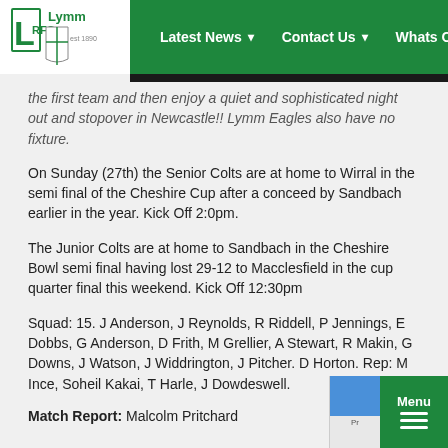Lymm RFC — Latest News | Contact Us | Whats On
the first team and then enjoy a quiet and sophisticated night out and stopover in Newcastle!! Lymm Eagles also have no fixture.
On Sunday (27th) the Senior Colts are at home to Wirral in the semi final of the Cheshire Cup after a conceed by Sandbach earlier in the year. Kick Off 2:0pm.
The Junior Colts are at home to Sandbach in the Cheshire Bowl semi final having lost 29-12 to Macclesfield in the cup quarter final this weekend. Kick Off 12:30pm
Squad: 15. J Anderson, J Reynolds, R Riddell, P Jennings, E Dobbs, G Anderson, D Frith, M Grellier, A Stewart, R Makin, G Downs, J Watson, J Widdrington, J Pitcher. D Horton. Rep: M Ince, Soheil Kakai, T Harle, J Dowdeswell.
Match Report: Malcolm Pritchard